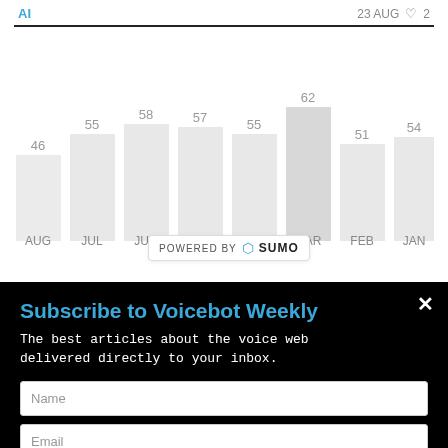AI   23 AUG  ♥ 2
[Figure (bar-chart): Monthly bar chart]
[Figure (screenshot): Powered by Sumo badge]
Subscribe to Voicebot Weekly
The best articles about the voice web delivered directly to your inbox.
Name
Email
SUBSCRIBE
served.